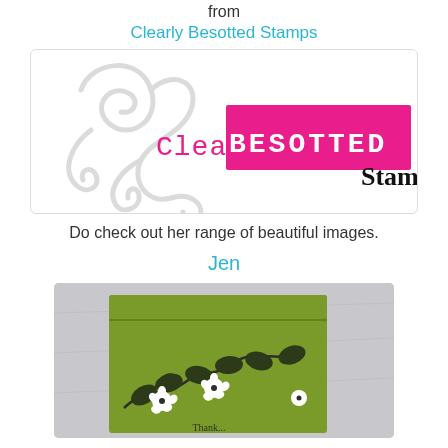from
Clearly Besotted Stamps
[Figure (logo): Clearly Besotted Stamps logo with decorative swirl design in grey, pink text 'Clearly', magenta/pink background with white bold text 'BESOTTED', and 'Stamps' in black serif font]
Do check out her range of beautiful images.
Jen
[Figure (photo): A green handmade card with black floral vine and white flower die cuts, partially visible text at bottom reads 'Thank you', set against a grey/white fabric background]